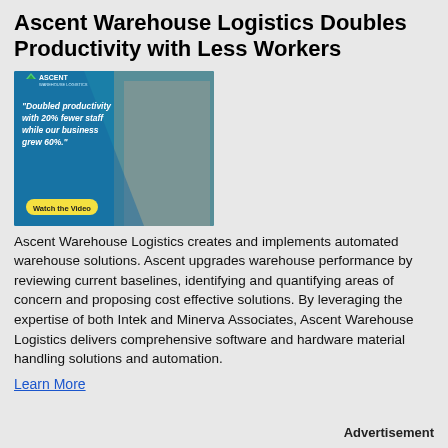Ascent Warehouse Logistics Doubles Productivity with Less Workers
[Figure (photo): Promotional video thumbnail for Ascent Warehouse Logistics featuring a man in a suit with text: 'Doubled productivity with 20% fewer staff while our business grew 60%.' and a 'Watch the Video' button.]
Ascent Warehouse Logistics creates and implements automated warehouse solutions. Ascent upgrades warehouse performance by reviewing current baselines, identifying and quantifying areas of concern and proposing cost effective solutions. By leveraging the expertise of both Intek and Minerva Associates, Ascent Warehouse Logistics delivers comprehensive software and hardware material handling solutions and automation.
Learn More
Advertisement